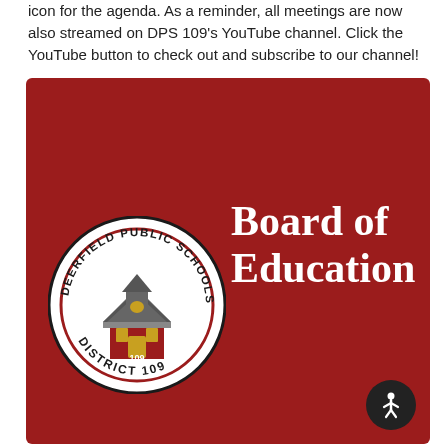icon for the agenda. As a reminder, all meetings are now also streamed on DPS 109's YouTube channel. Click the YouTube button to check out and subscribe to our channel!
[Figure (logo): Deerfield Public Schools District 109 Board of Education banner image with school logo on dark red background. Logo is a circular seal reading 'Deerfield Public Schools District 109' with a schoolhouse illustration. Text 'Board of Education' appears in white serif bold font to the right.]